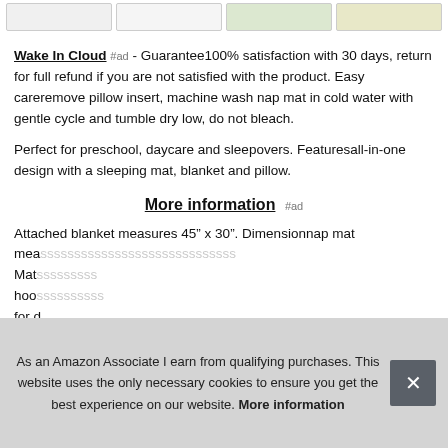[Figure (other): Row of four small product thumbnail images at the top of the page]
Wake In Cloud #ad - Guarantee100% satisfaction with 30 days, return for full refund if you are not satisfied with the product. Easy careremove pillow insert, machine wash nap mat in cold water with gentle cycle and tumble dry low, do not bleach.
Perfect for preschool, daycare and sleepovers. Featuresall-in-one design with a sleeping mat, blanket and pillow.
More information #ad
Attached blanket measures 45” x 30”. Dimensionnap mat mea... Mat... hoo... for d...
As an Amazon Associate I earn from qualifying purchases. This website uses the only necessary cookies to ensure you get the best experience on our website. More information